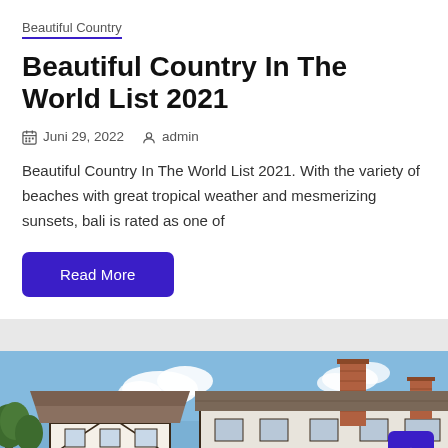Beautiful Country
Beautiful Country In The World List 2021
Juni 29, 2022   admin
Beautiful Country In The World List 2021. With the variety of beaches with great tropical weather and mesmerizing sunsets, bali is rated as one of
Read More
[Figure (photo): Exterior photo of traditional English countryside cottages with red brick chimneys and thatched/tiled roofs under a blue sky with white clouds, with trees visible on the left side.]